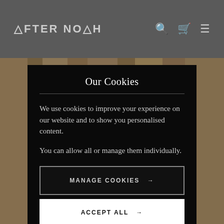AFTER NOAH
Our Cookies
We use cookies to improve your experience on our website and to show you personalised content.
You can allow all or manage them individually.
MANAGE COOKIES →
ACCEPT ALL →
[Figure (photo): Wooden floor with a metal wire object visible at the bottom]